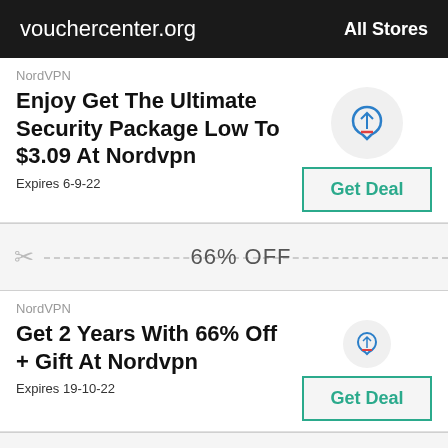vouchercenter.org   All Stores
NordVPN
Enjoy Get The Ultimate Security Package Low To $3.09 At Nordvpn
Expires 6-9-22
66% OFF
NordVPN
Get 2 Years With 66% Off + Gift At Nordvpn
Expires 19-10-22
70% OFF